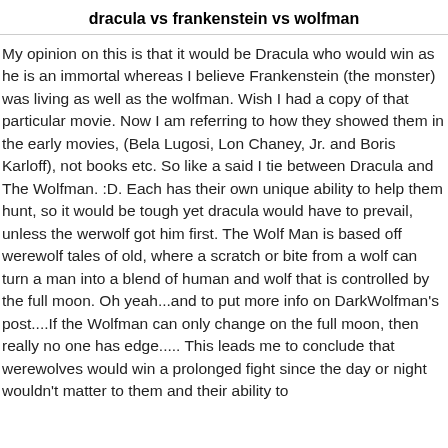dracula vs frankenstein vs wolfman
My opinion on this is that it would be Dracula who would win as he is an immortal whereas I believe Frankenstein (the monster) was living as well as the wolfman. Wish I had a copy of that particular movie. Now I am referring to how they showed them in the early movies, (Bela Lugosi, Lon Chaney, Jr. and Boris Karloff), not books etc. So like a said I tie between Dracula and The Wolfman. :D. Each has their own unique ability to help them hunt, so it would be tough yet dracula would have to prevail, unless the werwolf got him first. The Wolf Man is based off werewolf tales of old, where a scratch or bite from a wolf can turn a man into a blend of human and wolf that is controlled by the full moon. Oh yeah...and to put more info on DarkWolfman's post....If the Wolfman can only change on the full moon, then really no one has edge..... This leads me to conclude that werewolves would win a prolonged fight since the day or night wouldn't matter to them and their ability to